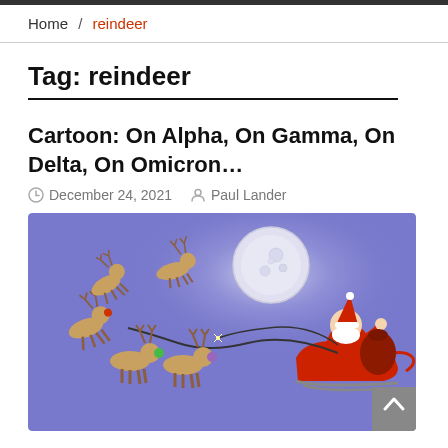Home / reindeer
Tag: reindeer
Cartoon: On Alpha, On Gamma, On Delta, On Omicron…
December 24, 2021   Paul Lander
[Figure (illustration): Christmas cartoon showing Santa Claus in his sleigh being pulled by reindeer (some wearing COVID variant-colored noses/accessories) against a blue night sky with a full moon. A whip curves from Santa's hand. One reindeer has scurried off the reins. Background is blue-purple with glowing moon.]